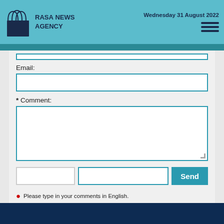RASA NEWS AGENCY | Wednesday 31 August 2022
Email:
* Comment:
Send
Please type in your comments in English.
The comments that contain insults or libel to individuals, ethnicities, or contradictions with the laws of the country and religious teachings will not be disclosed